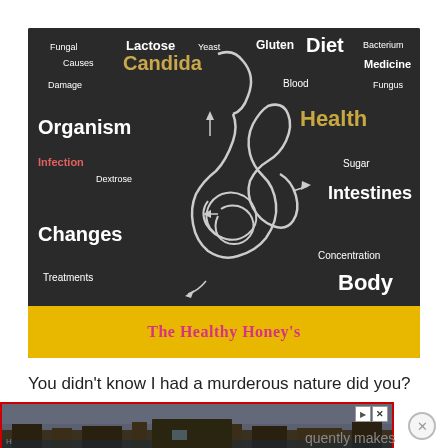[Figure (infographic): Chalkboard-style infographic showing a chalk drawing of human intestines/digestive system surrounded by words related to Candida and gut health: Fungal, Lactose, Yeast, Gluten, Diet, Bacterium, Causes, Candida (gold), Medicine, Blood, Damage, Organism (large white), Health (gold/yellow), Fungus, Infection (red), Sugar, Dextrose, Intestines, Changes (large white), Concentration, Treatments, Body (partially visible). A yellow banner at the bottom reads 'The Healthy Honey's' in pink cursive.]
You didn't know I had a murderous nature did you?
[Figure (photo): Advertisement banner showing an aerial/landscape photo of what appears to be a resort or hotel complex near water, with ad controls (play/close buttons) and a close circle button. Partially visible text reads '...quently makes']